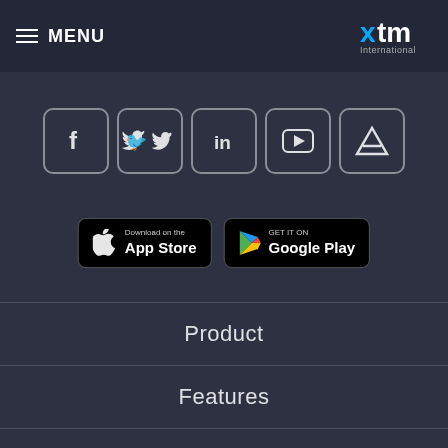MENU | XTM International
[Figure (illustration): Social media icon buttons in rounded square borders: Facebook, Twitter, LinkedIn, YouTube, and an A-frame/tent icon]
[Figure (illustration): App store download buttons: Download on the App Store (Apple) and GET IT ON Google Play]
Product
Features
Industries
Academy